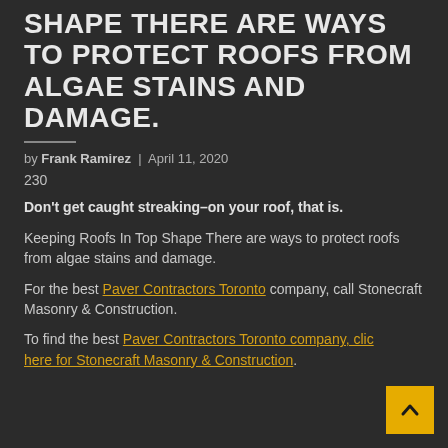SHAPE THERE ARE WAYS TO PROTECT ROOFS FROM ALGAE STAINS AND DAMAGE.
by Frank Ramirez | April 11, 2020
230
Don't get caught streaking–on your roof, that is.
Keeping Roofs In Top Shape There are ways to protect roofs from algae stains and damage.
For the best Paver Contractors Toronto company, call Stonecraft Masonry & Construction.
To find the best Paver Contractors Toronto company, click here for Stonecraft Masonry & Construction.